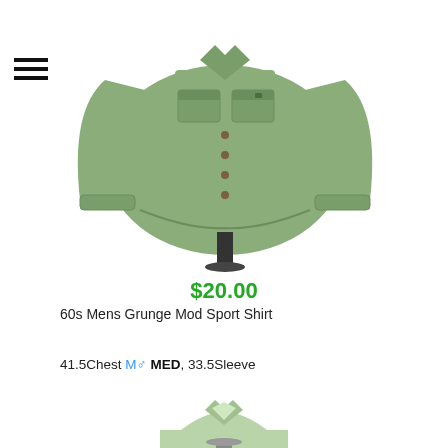[Figure (photo): Green long-sleeve button-up sport shirt displayed on a mannequin stand, photographed on white background]
$20.00
60s Mens Grunge Mod Sport Shirt
41.5Chest M♂ MED, 33.5Sleeve
[Figure (photo): Partial view of a light green shirt collar and shoulders on a mannequin stand]